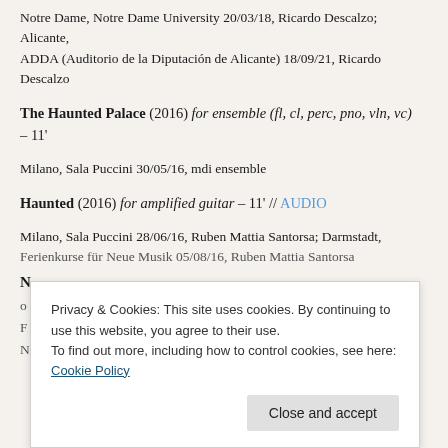Notre Dame, Notre Dame University 20/03/18, Ricardo Descalzo; Alicante, ADDA (Auditorio de la Diputación de Alicante) 18/09/21, Ricardo Descalzo
The Haunted Palace (2016) for ensemble (fl, cl, perc, pno, vln, vc) – 11'
Milano, Sala Puccini 30/05/16, mdi ensemble
Haunted (2016) for amplified guitar – 11' // AUDIO
Milano, Sala Puccini 28/06/16, Ruben Mattia Santorsa; Darmstadt, Ferienkurse für Neue Musik 05/08/16, Ruben Mattia Santorsa
Privacy & Cookies: This site uses cookies. By continuing to use this website, you agree to their use. To find out more, including how to control cookies, see here: Cookie Policy
Close and accept